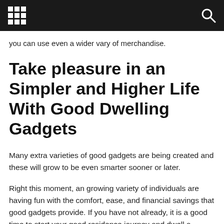you can use even a wider vary of merchandise.
Take pleasure in an Simpler and Higher Life With Good Dwelling Gadgets
Many extra varieties of good gadgets are being created and these will grow to be even smarter sooner or later.
Right this moment, an growing variety of individuals are having fun with the comfort, ease, and financial savings that good gadgets provide. If you have not already, it is a good time to start your good residence journey and dwell a greater life with good gadgets.